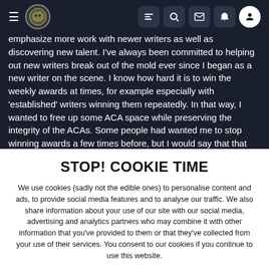Navigation bar with hamburger menu, logo, and icons (list, search, mail, bell, user)
emphasize more work with newer writers as well as discovering new talent. I've always been committed to helping out new writers break out of the mold ever since I began as a new writer on the scene. I know how hard it is to win the weekly awards at times, for example especially with 'established' writers winning them repeatedly. In that way, I wanted to free up some ACA space while preserving the integrity of the ACAs. Some people had wanted me to stop winning awards a few times before, but I would say that that can be discouraging to new writers who want to see how their AAR stacks up against other AARs in different ACA periods. It'd be one
STOP! COOKIE TIME
We use cookies (sadly not the edible ones) to personalise content and ads, to provide social media features and to analyse our traffic. We also share information about your use of our site with our social media, advertising and analytics partners who may combine it with other information that you've provided to them or that they've collected from your use of their services. You consent to our cookies if you continue to use this website.
✓ ACCEPT